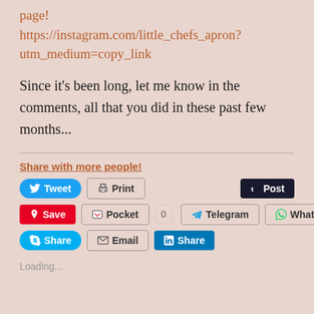page!
https://instagram.com/little_chefs_apron?utm_medium=copy_link
Since it's been long, let me know in the comments, all that you did in these past few months...
Share with more people!
[Figure (infographic): Social share buttons: Tweet, Print, Post, Save (Pinterest), Pocket, 0, Telegram, WhatsApp, Share (Skype), Email, Share (LinkedIn)]
Loading...